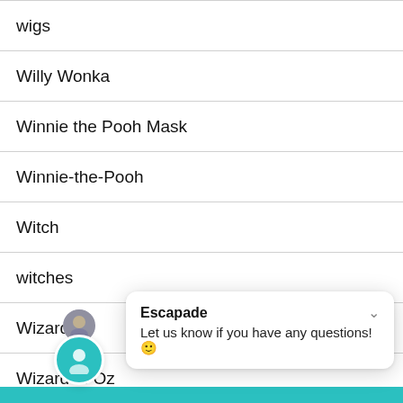wigs
Willy Wonka
Winnie the Pooh Mask
Winnie-the-Pooh
Witch
witches
Wizard
Wizard of Oz
Wolf.
Escapade
Let us know if you have any questions! 😊